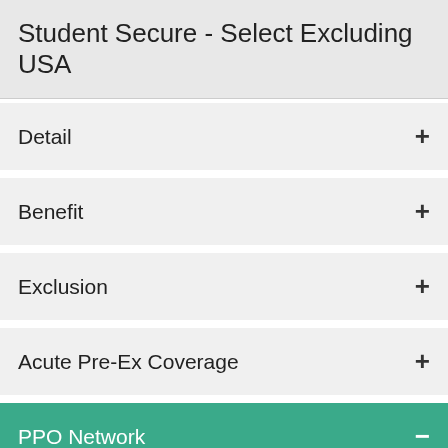Student Secure - Select Excluding USA
Detail
Benefit
Exclusion
Acute Pre-Ex Coverage
PPO Network
Click here for PPO Network
Complete details are given in certificate of insurance